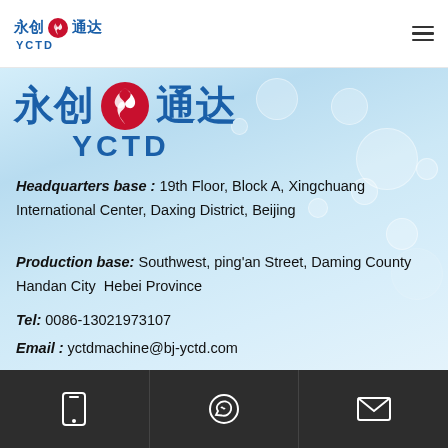永创 通达 YCTD
[Figure (logo): YCTD company logo with Chinese characters 永创 通达 and red fan/turbine icon, large version on water background]
Headquarters base : 19th Floor, Block A, Xingchuang International Center, Daxing District, Beijing
Production base: Southwest, ping'an Street, Daming County Handan City  Hebei Province
Tel: 0086-13021973107
Email : yctdmachine@bj-yctd.com
CONTACT US
FORM INQUIRY
[Figure (infographic): Bottom icon bar with three icons on dark grey background: mobile phone icon, WhatsApp/chat icon, email envelope icon]